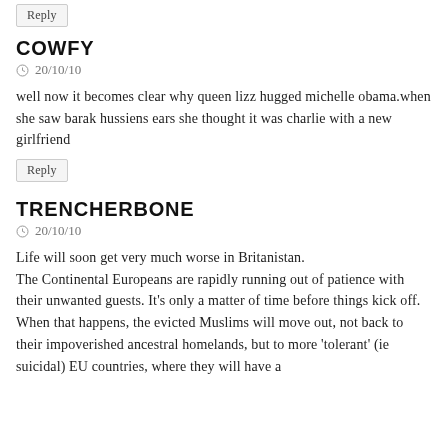Reply
COWFY
⊙ 20/10/10
well now it becomes clear why queen lizz hugged michelle obama.when she saw barak hussiens ears she thought it was charlie with a new girlfriend
Reply
TRENCHERBONE
⊙ 20/10/10
Life will soon get very much worse in Britanistan.
The Continental Europeans are rapidly running out of patience with their unwanted guests. It's only a matter of time before things kick off. When that happens, the evicted Muslims will move out, not back to their impoverished ancestral homelands, but to more 'tolerant' (ie suicidal) EU countries, where they will have a